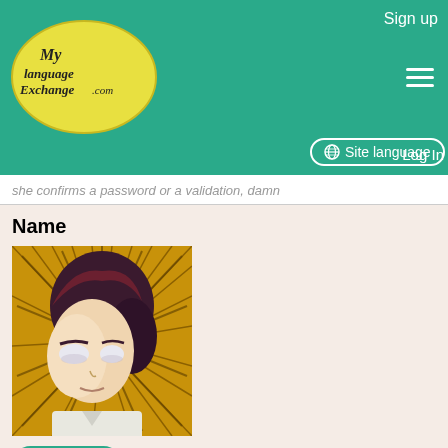MyLanguageExchange.com — Sign up | Site language | Log In
she confirms a password or a validation, damn
Name
[Figure (illustration): Anime-style character with reddish-brown hair and intense white eyes against a spiky golden background]
Aaron
June 3, 2014
Country(City)
United States
(Crofton)
Native Language
English